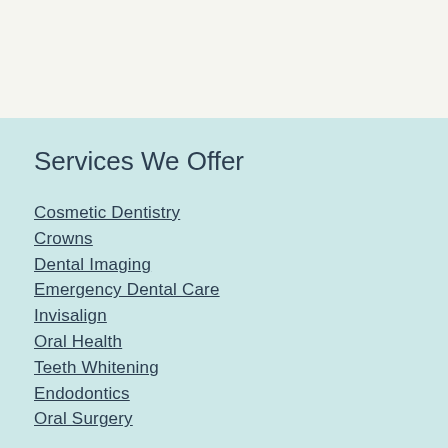Services We Offer
Cosmetic Dentistry
Crowns
Dental Imaging
Emergency Dental Care
Invisalign
Oral Health
Teeth Whitening
Endodontics
Oral Surgery